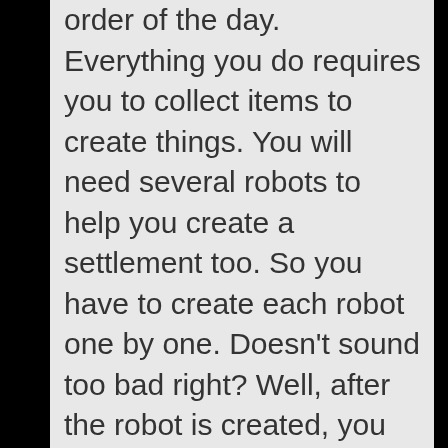order of the day. Everything you do requires you to collect items to create things. You will need several robots to help you create a settlement too. So you have to create each robot one by one. Doesn't sound too bad right? Well, after the robot is created, you have to go into each of their menus individually to set up programming. The menu for this is complicated and cumbersome to use.  There is no touch screen controls at all in this game. Touch screen use would've made the menus easier to navigate for sure.
There is a tutorial that tries to teach you how to create robots and navigate their menu for programming but it's a messy process that only hardcore game creation fans might enjoy. For everyone else, doing the same thing over and over in Settlement mode just gets repetitive and